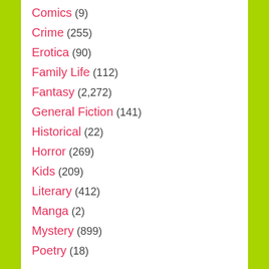Comics (9)
Crime (255)
Erotica (90)
Family Life (112)
Fantasy (2,272)
General Fiction (141)
Historical (22)
Horror (269)
Kids (209)
Literary (412)
Manga (2)
Mystery (899)
Poetry (18)